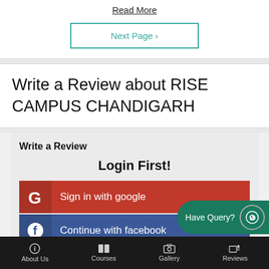Read More
Next Page ›
Write a Review about RISE CAMPUS CHANDIGARH
Write a Review
Login First!
Sign in with google
Continue with facebook
Have Query?
About Us   Courses   Gallery   Reviews